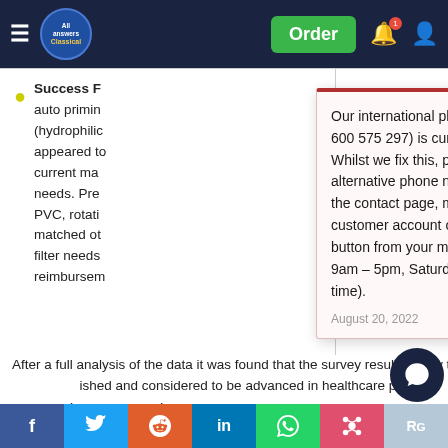All Answers Classical — Order | Notification | Account
Success F... auto priming (hydrophilic appeared to current ma needs. Pre PVC, rotati matched ot filter needs reimbursem
Our international phone number (+971 600 575 297) is currently out of service. Whilst we fix this, please use the alternative phone numbers provided on the contact page, message through your customer account or click the WhatsApp button from your mobile (Monday – Friday 9am – 5pm, Saturday 10am – 6pm UK time).
August 20, 2022
Source: (IPSOS, 2017)
After a full analysis of the data it was found that the survey results alig w t ished and considered to be advanced in healthcare practice.